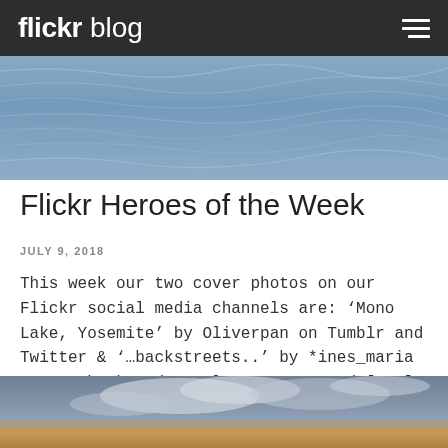flickr blog
[Figure (photo): Close-up photo of blue water surface with ripples and texture, used as a cover photo for the blog post.]
Flickr Heroes of the Week
JULY 9, 2018
This week our two cover photos on our Flickr social media channels are: ‘Mono Lake, Yosemite’ by Oliverpan on Tumblr and Twitter & ‘…backstreets..’ by *ines_maria on Facebook and Google+. Interested [...]
[Figure (photo): Partial view of a landscape photo with cloudy sky and warm-toned sandy ground, partially cut off at the bottom of the page.]